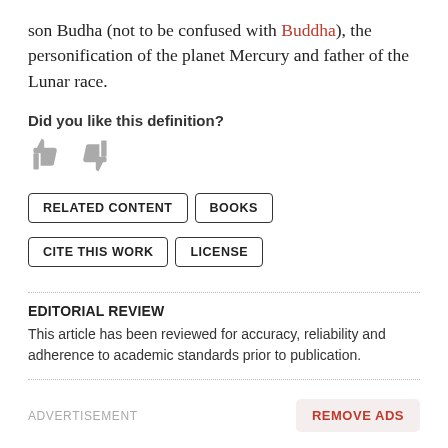son Budha (not to be confused with Buddha), the personification of the planet Mercury and father of the Lunar race.
Did you like this definition?
[Figure (illustration): Thumbs up and thumbs down icons in gray]
RELATED CONTENT   BOOKS   CITE THIS WORK   LICENSE
EDITORIAL REVIEW
This article has been reviewed for accuracy, reliability and adherence to academic standards prior to publication.
ADVERTISEMENT
REMOVE ADS